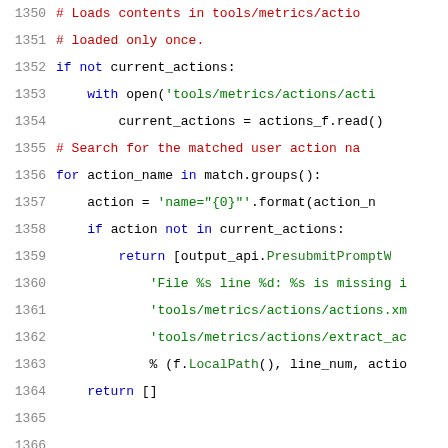[Figure (screenshot): Python source code snippet showing lines 1350-1371 with syntax highlighting. Line numbers in grey on left, keywords in blue, comments in red, string literals in green, method names in green.]